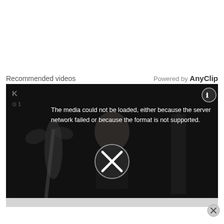Recommended videos
Powered by AnyClip
[Figure (screenshot): Video player showing a media error message overlay on a dark scene with a blonde woman. Error text reads: 'The media could not be loaded, either because the server or network failed or because the format is not supported.' A large X circle button is centered, and a circular button appears in the top right corner.]
The media could not be loaded, either because the server or network failed or because the format is not supported.